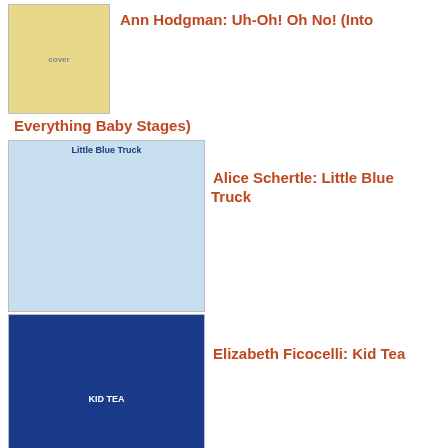Ann Hodgman: Uh-Oh! Oh No! (Into Everything Baby Stages)
Alice Schertle: Little Blue Truck
Elizabeth Ficocelli: Kid Tea
Karen Katz: Where Is Baby's Belly Button? A Lift-the-Flap Book
Stella Blackstone: Bear's Busy Family (A Barefoot Board Book)